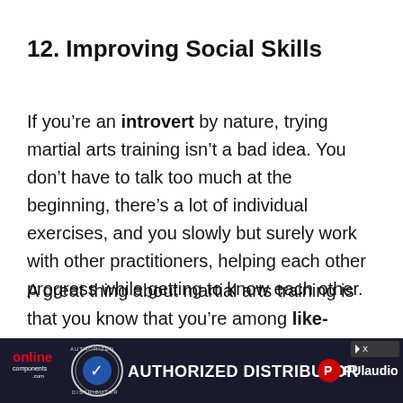12. Improving Social Skills
If you’re an introvert by nature, trying martial arts training isn’t a bad idea. You don’t have to talk too much at the beginning, there’s a lot of individual exercises, and you slowly but surely work with other practitioners, helping each other progress while getting to know each other.
A great thing about martial arts training is that you know that you’re among like-minded people that you have at least something in common, as you’re both members of...
[Figure (infographic): Advertisement banner for Online Components and PUlaudio Authorized Distributor]